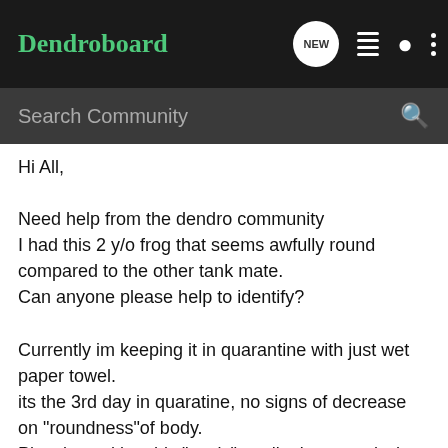Dendroboard
Search Community
Hi All,

Need help from the dendro community
I had this 2 y/o frog that seems awfully round compared to the other tank mate.
Can anyone please help to identify?

Currently im keeping it in quarantine with just wet paper towel.
its the 3rd day in quaratine, no signs of decrease on "roundness"of body.
Plus, its making this "static" or clipping sound when its i would guess breathing
Frogs - Google Drive
drive.google.com